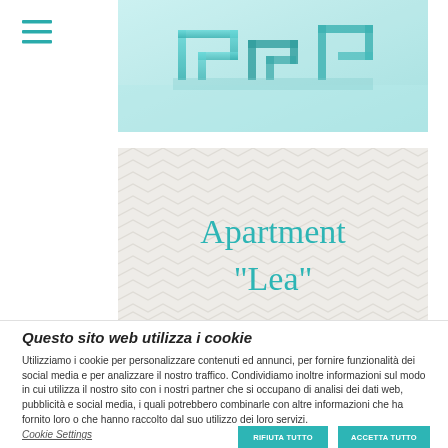[Figure (photo): Aerial photo of architectural model or maze in teal/cyan colors]
Apartment "Lea"
Questo sito web utilizza i cookie
Utilizziamo i cookie per personalizzare contenuti ed annunci, per fornire funzionalità dei social media e per analizzare il nostro traffico. Condividiamo inoltre informazioni sul modo in cui utilizza il nostro sito con i nostri partner che si occupano di analisi dei dati web, pubblicità e social media, i quali potrebbero combinarle con altre informazioni che ha fornito loro o che hanno raccolto dal suo utilizzo dei loro servizi.
Cookie Settings   RIFIUTA TUTTO   ACCETTA TUTTO